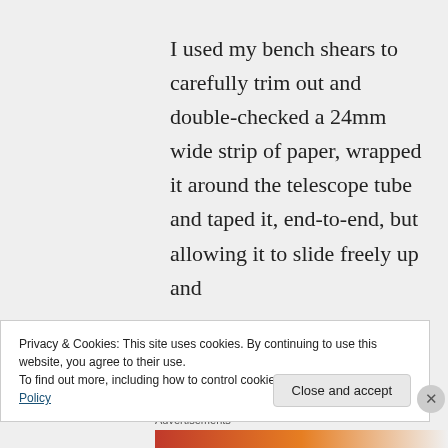I used my bench shears to carefully trim out and double-checked a 24mm wide strip of paper, wrapped it around the telescope tube and taped it, end-to-end, but allowing it to slide freely up and
Privacy & Cookies: This site uses cookies. By continuing to use this website, you agree to their use.
To find out more, including how to control cookies, see here: Cookie Policy
Advertisements